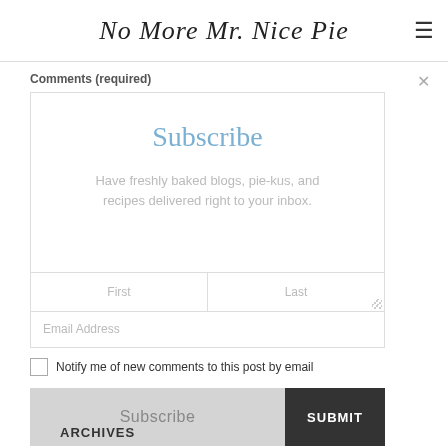No More Mr. Nice Pie
Comments (required)
[Figure (screenshot): Subscribe overlay on comment textarea with 'Subscribe' title, description 'Have freshly baked blogs, pie-kus, and recipes delivered right to your inbox.', First/Last name fields]
Email Address
Notify me of new comments to this post by email
Subscribe
SUBMIT
ARCHIVES